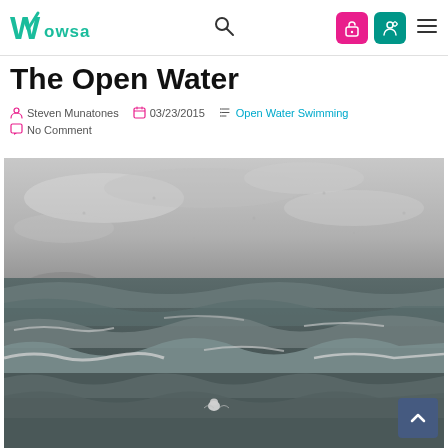WOWSA
The Open Water
Steven Munatones  03/23/2015  Open Water Swimming  No Comment
[Figure (photo): Black and white photograph of rough open water ocean with large waves, overcast sky, and a swimmer visible in the water near center-bottom of frame]